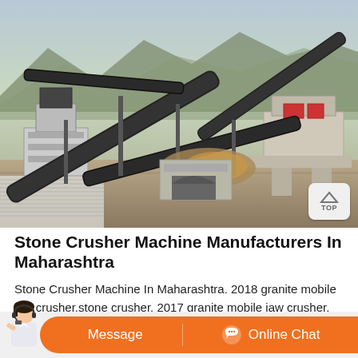[Figure (photo): Outdoor stone crusher and conveyor belt machinery installation at a quarry site, with mountains in background. Shows large industrial crushing equipment with multiple conveyor belts.]
Stone Crusher Machine Manufacturers In Maharashtra
Stone Crusher Machine In Maharashtra. 2018 granite mobile jaw crusher,stone crusher. 2017 granite mobile jaw crusher, stone crusher machine 10 hpused stone crusher for sale in maharashtra application